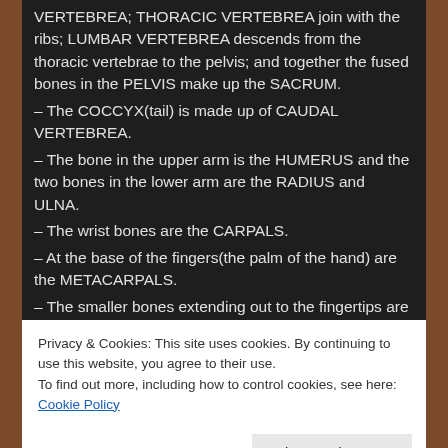VERTEBREA; THORACIC VERTEBREA join with the ribs; LUMBAR VERTEBREA descends from the thoracic vertebrae to the pelvis; and together the fused bones in the PELVIS make up the SACRUM.
– The COCCYX(tail) is made up of CAUDAL VERTEBREA.
– The bone in the upper arm is the HUMERUS and the two bones in the lower arm are the RADIUS and ULNA.
– The wrist bones are the CARPALS.
– At the base of the fingers(the palm of the hand) are the METACARPALS.
– The smaller bones extending out to the fingertips are the PHALANGES.
– The largest bones in the body are the FEMURS, the
Privacy & Cookies: This site uses cookies. By continuing to use this website, you agree to their use.
To find out more, including how to control cookies, see here: Cookie Policy
connect to the METATARSALS.